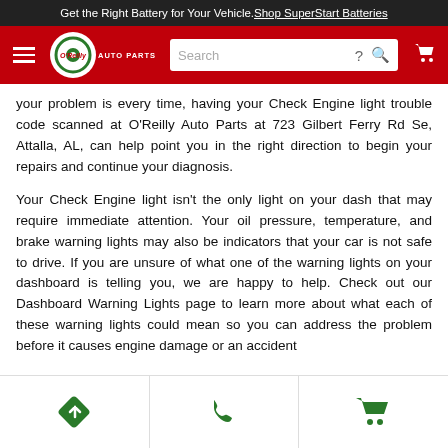Get the Right Battery for Your Vehicle. Shop SuperStart Batteries
[Figure (screenshot): O'Reilly Auto Parts navigation bar with hamburger menu, logo, search bar, help icon, search icon, and cart icon]
your problem is every time, having your Check Engine light trouble code scanned at O'Reilly Auto Parts at 723 Gilbert Ferry Rd Se, Attalla, AL, can help point you in the right direction to begin your repairs and continue your diagnosis.
Your Check Engine light isn't the only light on your dash that may require immediate attention. Your oil pressure, temperature, and brake warning lights may also be indicators that your car is not safe to drive. If you are unsure of what one of the warning lights on your dashboard is telling you, we are happy to help. Check out our Dashboard Warning Lights page to learn more about what each of these warning lights could mean so you can address the problem before it causes engine damage or an accident
[Figure (infographic): Bottom navigation bar with three green icons: directions/turn arrow, phone, and shopping cart]